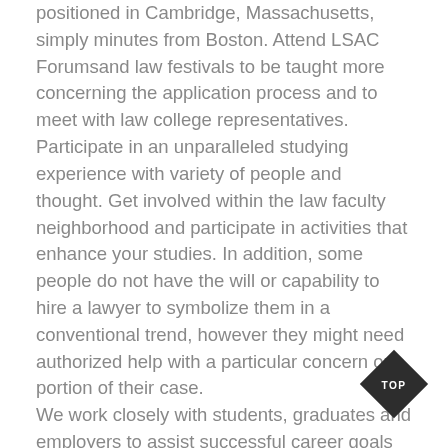positioned in Cambridge, Massachusetts, simply minutes from Boston. Attend LSAC Forumsand law festivals to be taught more concerning the application process and to meet with law college representatives. Participate in an unparalleled studying experience with variety of people and thought. Get involved within the law faculty neighborhood and participate in activities that enhance your studies. In addition, some people do not have the will or capability to hire a lawyer to symbolize them in a conventional trend, however they might need authorized help with a particular concern or portion of their case. We work closely with students, graduates and employers to assist successful career goals and outcomes. Our general placement rate is consistently sturdy, with 94 p.c of our JD class employed within
[Figure (other): Diamond-shaped dark badge with 'TOP' text in white, positioned at bottom right of page]